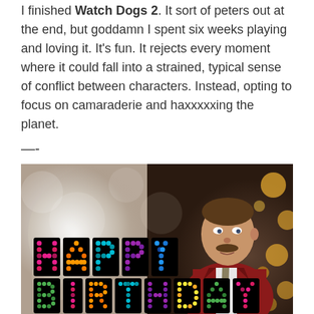I finished Watch Dogs 2. It sort of peters out at the end, but goddamn I spent six weeks playing and loving it. It's fun. It rejects every moment where it could fall into a strained, typical sense of conflict between characters. Instead, opting to focus on camaraderie and haxxxxxing the planet.
—-
[Figure (photo): A happy birthday meme image showing colorful dotted letter text reading HAPPY BIRTHDAY in front of a man with a mustache in a red suit (resembling Ron Burgundy from Anchorman), with bokeh stage lights in the background.]
It's my birthday on Thursday. Turning 34. I feel simultaneously not Old at all, but also not as Young Bodied as